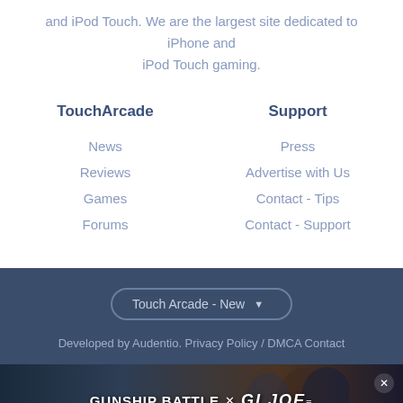and iPod Touch. We are the largest site dedicated to iPhone and iPod Touch gaming.
TouchArcade
Support
News
Reviews
Games
Forums
Press
Advertise with Us
Contact - Tips
Contact - Support
Touch Arcade - New
Developed by Audentio. Privacy Policy / DMCA Contact
[Figure (photo): Gunship Battle x GI Joe advertisement banner with game characters]